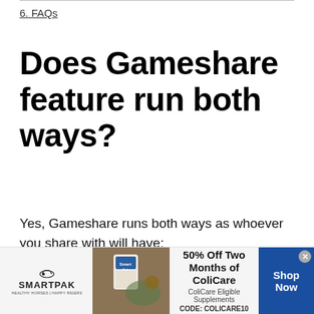6. FAQs
Does Gameshare feature run both ways?
Yes, Gameshare runs both ways as whoever you share with will have:
1. Access to your library.
2. And you will have access to any of their
[Figure (other): SmartPak advertisement banner showing horse supplement product with offer: 50% Off Two Months of ColiCare, ColiCare Eligible Supplements, CODE: COLICARE10, Shop Now button]